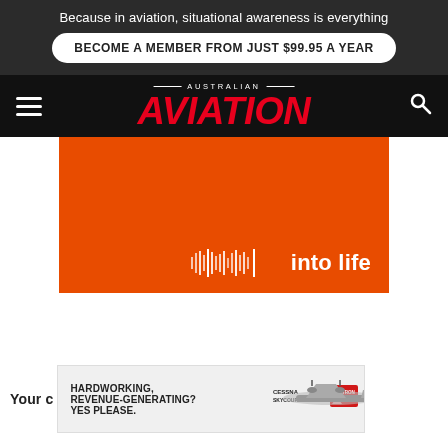Because in aviation, situational awareness is everything
BECOME A MEMBER FROM JUST $99.95 A YEAR
[Figure (logo): Australian Aviation magazine logo with red italic AVIATION text on black background, hamburger menu on left, search icon on right]
[Figure (other): Orange advertisement banner with waveform graphic and 'into life' text in white]
[Figure (other): Cessna SkyCourier advertisement: HARDWORKING. REVENUE-GENERATING? YES PLEASE. with aircraft image and Cessna SkyCourier / Textron Aviation logos]
Your c